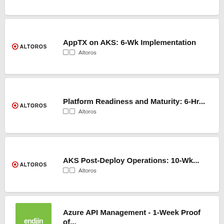[Figure (other): Partial card at top, clipped]
AppTX on AKS: 6-Wk Implementation
🔲🔲 Altoros
Platform Readiness and Maturity: 6-Hr...
🔲🔲 Altoros
AKS Post-Deploy Operations: 10-Wk...
🔲🔲 Altoros
Azure API Management - 1-Week Proof of...
🔲🔲 endjin